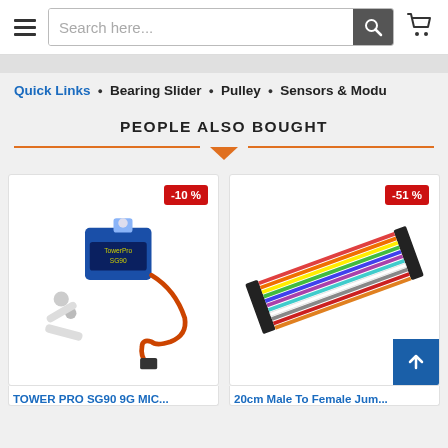[Figure (screenshot): Website header with hamburger menu, search bar with placeholder 'Search here...', search button, and cart icon]
[Figure (other): Navigation quick links bar showing: Quick Links • Bearing Slider • Pulley • Sensors & Modu]
PEOPLE ALSO BOUGHT
[Figure (illustration): Tower Pro SG90 9G micro servo motor with accessories and red cable, showing -10% discount badge]
TOWER PRO SG90 9G MIC...
[Figure (photo): 20cm Male To Female jumper wires/cables, colorful ribbon with -51% discount badge and back-to-top arrow button]
20cm Male To Female Jum...